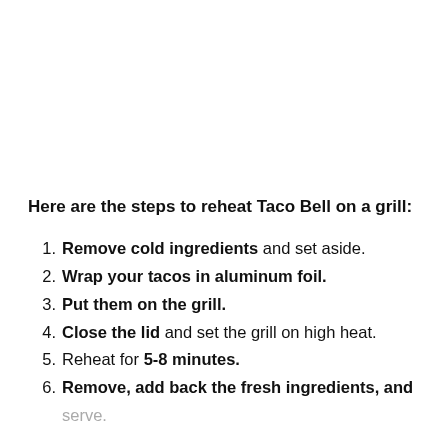Here are the steps to reheat Taco Bell on a grill:
Remove cold ingredients and set aside.
Wrap your tacos in aluminum foil.
Put them on the grill.
Close the lid and set the grill on high heat.
Reheat for 5-8 minutes.
Remove, add back the fresh ingredients, and serve.